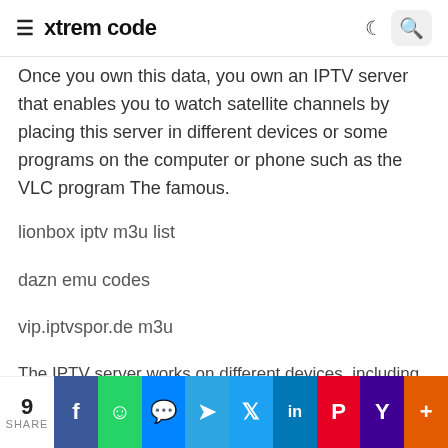≡ xtrem code
Once you own this data, you own an IPTV server that enables you to watch satellite channels by placing this server in different devices or some programs on the computer or phone such as the VLC program The famous.
lionbox iptv m3u list
dazn emu codes
vip.iptvspor.de m3u
The IPTV server works on different devices, including